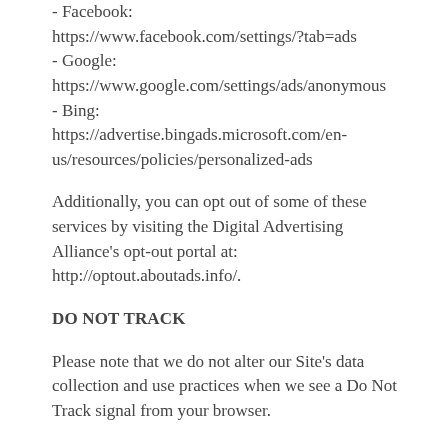- Facebook: https://www.facebook.com/settings/?tab=ads
- Google: https://www.google.com/settings/ads/anonymous
- Bing: https://advertise.bingads.microsoft.com/en-us/resources/policies/personalized-ads
Additionally, you can opt out of some of these services by visiting the Digital Advertising Alliance's opt-out portal at: http://optout.aboutads.info/.
DO NOT TRACK
Please note that we do not alter our Site's data collection and use practices when we see a Do Not Track signal from your browser.
YOUR RIGHTS
If you are a European resident, you have the right